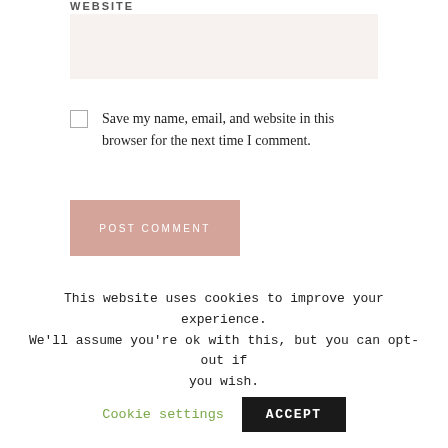WEBSITE
Save my name, email, and website in this browser for the next time I comment.
POST COMMENT
← How to grow super long hair fast and naturally – no expensive products and no trimming!!! (plus my
This website uses cookies to improve your experience. We'll assume you're ok with this, but you can opt-out if you wish.
Cookie settings
ACCEPT